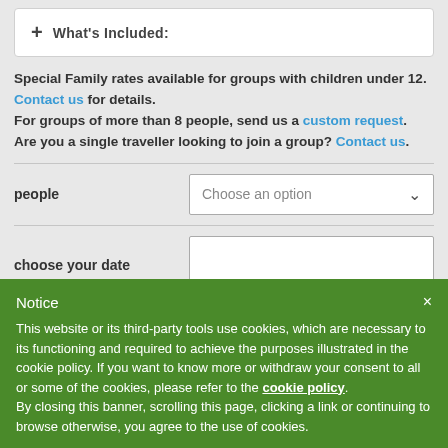+ What's Included:
Special Family rates available for groups with children under 12. Contact us for details.
For groups of more than 8 people, send us a custom request.
Are you a single traveller looking to join a group? Contact us.
people — Choose an option (dropdown)
choose your date — (input field)
Notice
This website or its third-party tools use cookies, which are necessary to its functioning and required to achieve the purposes illustrated in the cookie policy. If you want to know more or withdraw your consent to all or some of the cookies, please refer to the cookie policy.
By closing this banner, scrolling this page, clicking a link or continuing to browse otherwise, you agree to the use of cookies.